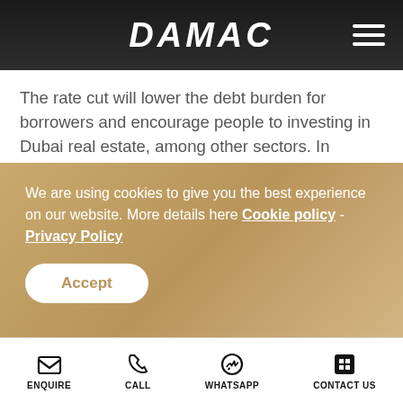DAMAC
The rate cut will lower the debt burden for borrowers and encourage people to investing in Dubai real estate, among other sectors. In addition 3and low prices, and lower Dubai mortgage rates could boost demand for real estate, which in turn, will help absorb the supply and activate other sectors of the economy.
The cumulative effect of market conditions and government initiatives can already be witnessed, with the Dubai Land Department recording over 5,000
We are using cookies to give you the best experience on our website. More details here Cookie policy - Privacy Policy
ENQUIRE  CALL  WHATSAPP  CONTACT US